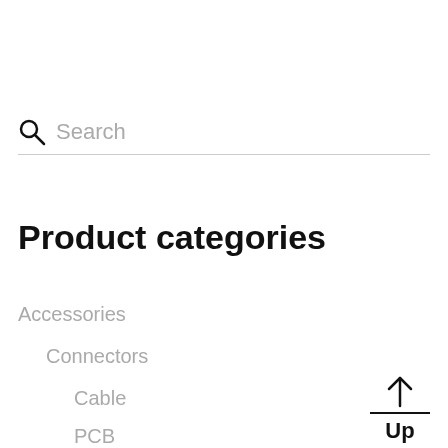[Figure (screenshot): Search bar with magnifying glass icon and placeholder text 'Search', with a horizontal divider line below]
Product categories
Accessories
Connectors
Cable
PCB
[Figure (other): Up arrow icon with a horizontal line and 'Up' label below]
Lux Meter